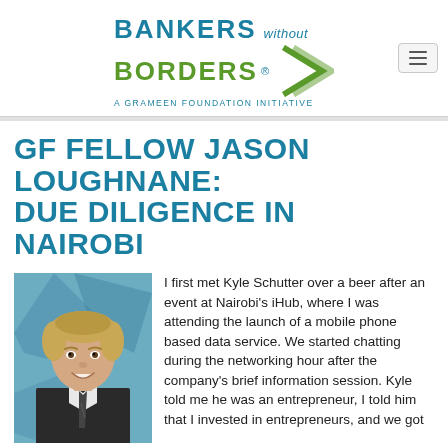[Figure (logo): Bankers without Borders logo - A Grameen Foundation Initiative, with teal and green chevron arrow]
GF FELLOW JASON LOUGHNANE: DUE DILIGENCE IN NAIROBI
[Figure (photo): Portrait photo of Jason Loughnane, a young man in a suit and tie, smiling]
I first met Kyle Schutter over a beer after an event at Nairobi's iHub, where I was attending the launch of a mobile phone based data service. We started chatting during the networking hour after the company's brief information session. Kyle told me he was an entrepreneur, I told him that I invested in entrepreneurs, and we got